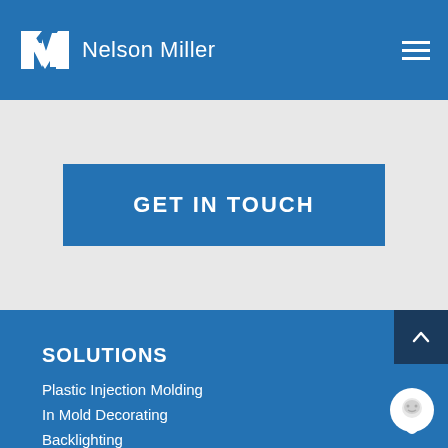Nelson Miller
GET IN TOUCH
SOLUTIONS
Plastic Injection Molding
In Mold Decorating
Backlighting
Membrane Switches
Rigid and Flex Circuits
Keypads